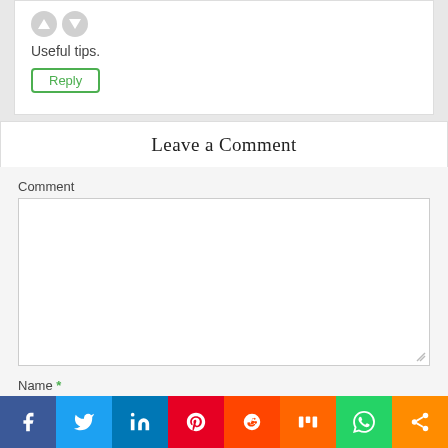Useful tips.
Reply
Leave a Comment
Comment
Name *